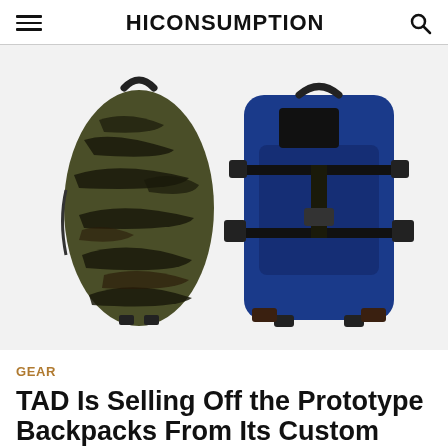HICONSUMPTION
[Figure (photo): Two tactical backpacks side by side on white background. Left backpack has tiger stripe camouflage pattern in olive/black. Right backpack is royal blue with black straps and buckles, featuring a black patch on front.]
GEAR
TAD Is Selling Off the Prototype Backpacks From Its Custom